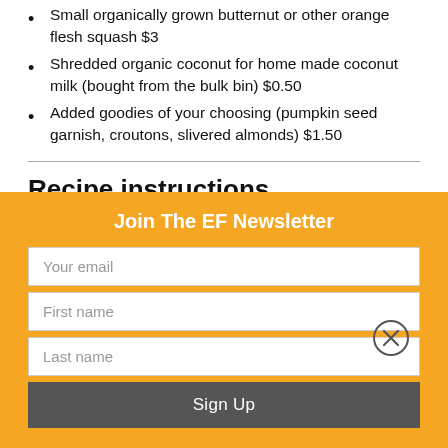Small organically grown butternut or other orange flesh squash $3
Shredded organic coconut for home made coconut milk (bought from the bulk bin) $0.50
Added goodies of your choosing (pumpkin seed garnish, croutons, slivered almonds) $1.50
Recipe instructions
Roast your squash. I like to roast squash whole (don't
Join The EF Newsletter
Your email
First name
Last name
Sign Up